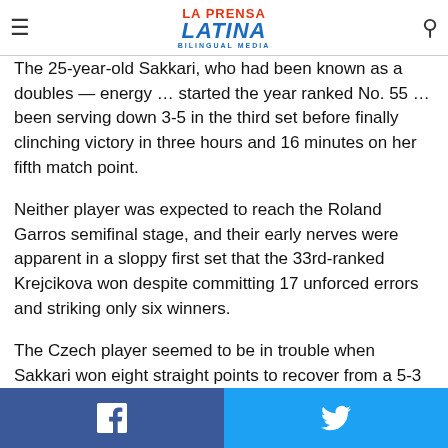La Prensa Latina Bilingual Media — navigation bar with hamburger menu and search icon
The 25-year-old Sakkari, who had been known as a doubles — energy … started the year ranked No. 55 … been serving down 3-5 in the third set before finally clinching victory in three hours and 16 minutes on her fifth match point.
Neither player was expected to reach the Roland Garros semifinal stage, and their early nerves were apparent in a sloppy first set that the 33rd-ranked Krejcikova won despite committing 17 unforced errors and striking only six winners.
The Czech player seemed to be in trouble when Sakkari won eight straight points to recover from a 5-3 deficit and even the first set at 5-5.
But three costly errors off the Greek player's racket – including
Facebook share | Twitter share